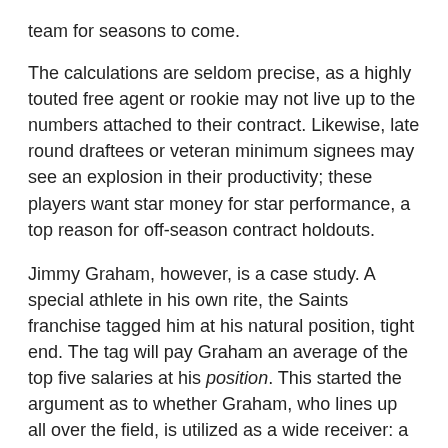team for seasons to come.
The calculations are seldom precise, as a highly touted free agent or rookie may not live up to the numbers attached to their contract. Likewise, late round draftees or veteran minimum signees may see an explosion in their productivity; these players want star money for star performance, a top reason for off-season contract holdouts.
Jimmy Graham, however, is a case study. A special athlete in his own rite, the Saints franchise tagged him at his natural position, tight end. The tag will pay Graham an average of the top five salaries at his position. This started the argument as to whether Graham, who lines up all over the field, is utilized as a wide receiver: a position in which the top five salaries would average out to several million dollars more.
Also consider the premise of a franchise tag is for a